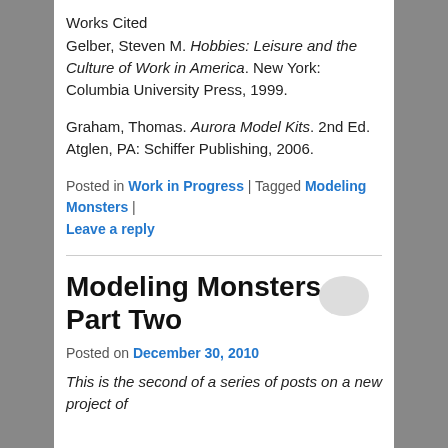Works Cited
Gelber, Steven M. Hobbies: Leisure and the Culture of Work in America. New York: Columbia University Press, 1999.
Graham, Thomas. Aurora Model Kits. 2nd Ed. Atglen, PA: Schiffer Publishing, 2006.
Posted in Work in Progress | Tagged Modeling Monsters | Leave a reply
Modeling Monsters, Part Two
Posted on December 30, 2010
This is the second of a series of posts on a new project of